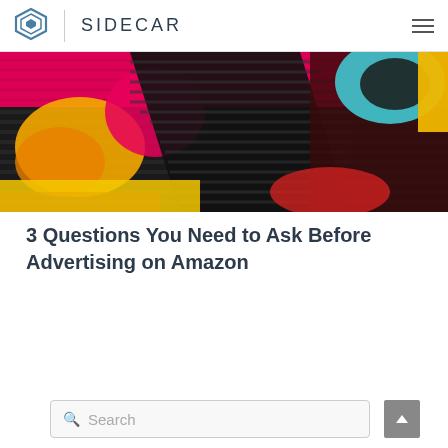SIDECAR
[Figure (photo): Colorful graffiti mural with pink, yellow, orange, black, and teal abstract shapes on what appears to be a corrugated metal surface]
3 Questions You Need to Ask Before Advertising on Amazon